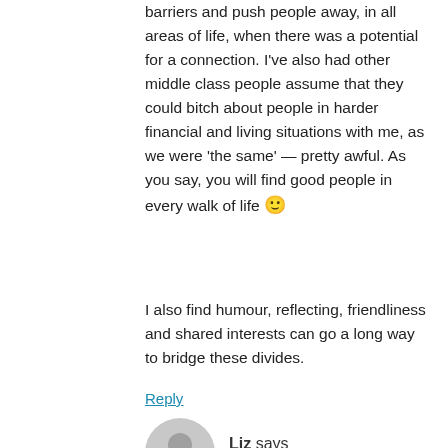barriers and push people away, in all areas of life, when there was a potential for a connection. I've also had other middle class people assume that they could bitch about people in harder financial and living situations with me, as we were 'the same' — pretty awful. As you say, you will find good people in every walk of life 🙂
I also find humour, reflecting, friendliness and shared interests can go a long way to bridge these divides.
Reply
Liz says
September 16, 2019 at 1:29 pm